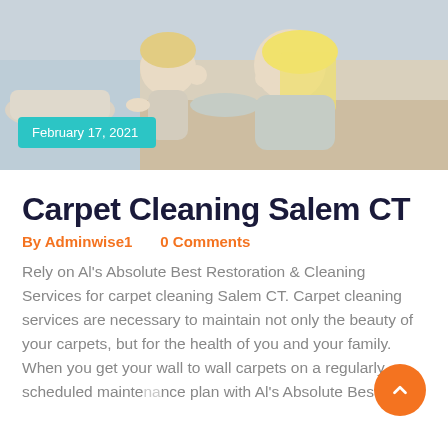[Figure (photo): Photo of a woman and young child (mother and toddler) close together, appearing to kiss, lying on a light-colored carpet. A teal 'February 17, 2021' date badge is overlaid on the lower-left of the image.]
Carpet Cleaning Salem CT
By Adminwise1    0 Comments
Rely on Al's Absolute Best Restoration & Cleaning Services for carpet cleaning Salem CT. Carpet cleaning services are necessary to maintain not only the beauty of your carpets, but for the health of you and your family. When you get your wall to wall carpets on a regularly scheduled maintenance plan with Al's Absolute Best, [...]